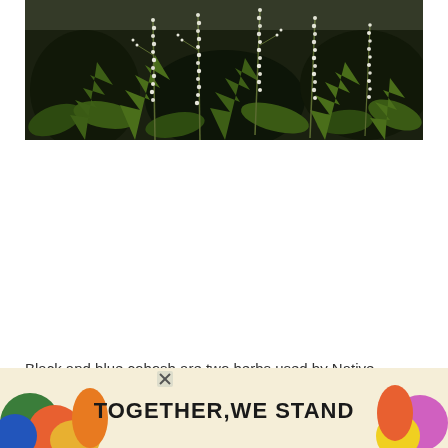[Figure (photo): Close-up photograph of black cohosh or similar herb plant with white flowering spikes and green leaves against a dark background]
Black and blue cohosh are two herbs used by Native Americans to induce labor. Although there is... cohosh th...
[Figure (infographic): Advertisement banner with colorful geometric shapes and text reading TOGETHER,WE STAND with close buttons]